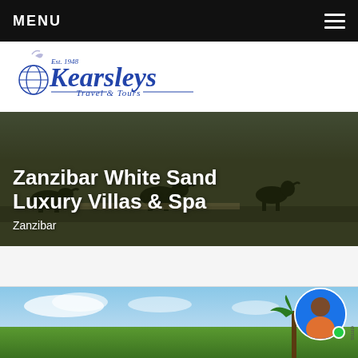MENU
[Figure (logo): Kearsleys Travel & Tours logo with Est. 1948, blue serif wordmark with globe icon]
Zanzibar White Sand Luxury Villas & Spa
Zanzibar
[Figure (photo): Partial photo of blue sky, palm trees and tropical scenery at the bottom of the page]